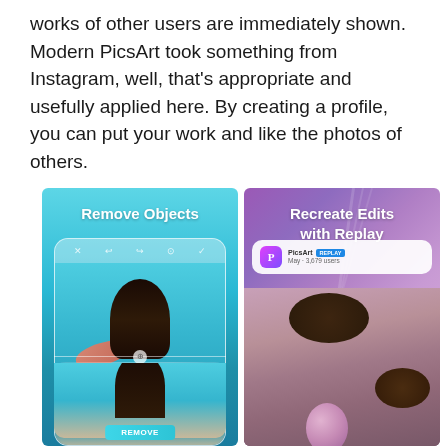works of other users are immediately shown. Modern PicsArt took something from Instagram, well, that's appropriate and usefully applied here. By creating a profile, you can put your work and like the photos of others.
[Figure (screenshot): Two app feature screenshots side by side. Left: 'Remove Objects' feature showing a photo editing interface with a woman in water and a floating red shoe being removed, with 'REMOVE' button at bottom. Right: 'Recreate Edits with Replay' feature showing a PicsArt Replay card UI with a photo of two people with holographic bubble overlays.]